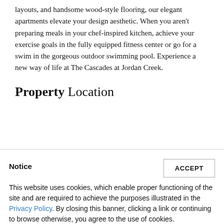layouts, and handsome wood-style flooring, our elegant apartments elevate your design aesthetic. When you aren't preparing meals in your chef-inspired kitchen, achieve your exercise goals in the fully equipped fitness center or go for a swim in the gorgeous outdoor swimming pool. Experience a new way of life at The Cascades at Jordan Creek.
Property Location
Notice
This website uses cookies, which enable proper functioning of the site and are required to achieve the purposes illustrated in the Privacy Policy. By closing this banner, clicking a link or continuing to browse otherwise, you agree to the use of cookies.